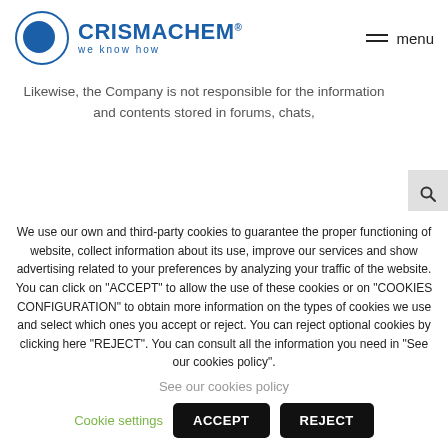CRISMACHEM® we know how | menu
Likewise, the Company is not responsible for the information and contents stored in forums, chats,
We use our own and third-party cookies to guarantee the proper functioning of website, collect information about its use, improve our services and show advertising related to your preferences by analyzing your traffic of the website. You can click on "ACCEPT" to allow the use of these cookies or on "COOKIES CONFIGURATION" to obtain more information on the types of cookies we use and select which ones you accept or reject. You can reject optional cookies by clicking here "REJECT". You can consult all the information you need in "See our cookies policy".
See our cookies policy
Cookie settings | ACCEPT | REJECT